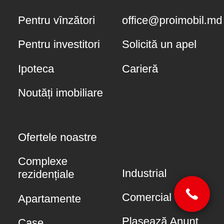Pentru vînzători
office@proimobil.md
Pentru investitori
Solicită un apel
Ipoteca
Carieră
Noutăți imobiliare
Ofertele noastre
Complexe rezidențiale
Industrial
Apartamente
Comercial
Case
Plasează Anunț
Terenuri
Trade-IN
Prima Casă
[Figure (illustration): Red circular call button with phone icon in bottom right corner]